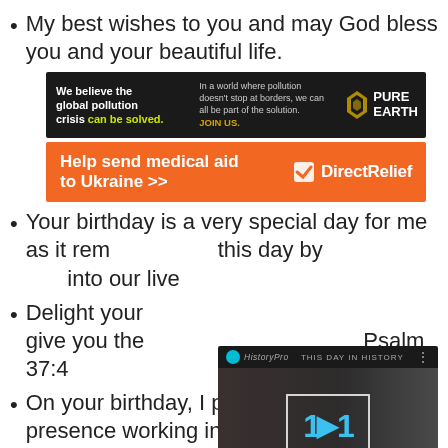My best wishes to you and may God bless you and your beautiful life.
[Figure (other): Pure Earth advertisement banner: dark background with text 'We believe the global pollution crisis can be solved.' and 'In a world where pollution doesn't stop at borders, we can all be part of the solution. JOIN US.' with Pure Earth logo]
[Figure (other): Direct Relief orange banner advertisement: 'Help send medical aid to Ukraine >>' with Direct Relief logo]
Your birthday is a very special day for me as it rem... this day by ... into our live...
Delight your... give you the... Psalm 37:4
[Figure (other): Video overlay: This Day In History video player showing '1 AUGUST' with play controls]
On your birthday, I pray that you feel His presence working in your life and